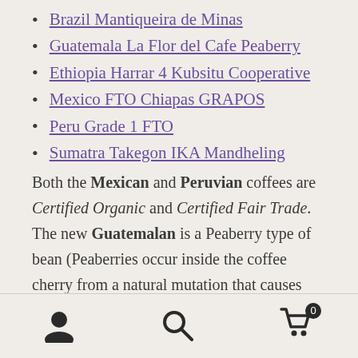Brazil Mantiqueira de Minas
Guatemala La Flor del Cafe Peaberry
Ethiopia Harrar 4 Kubsitu Cooperative
Mexico FTO Chiapas GRAPOS
Peru Grade 1 FTO
Sumatra Takegon IKA Mandheling
Both the Mexican and Peruvian coffees are Certified Organic and Certified Fair Trade. The new Guatemalan is a Peaberry type of bean (Peaberries occur inside the coffee cherry from a natural mutation that causes only one of the seeds to be pollinated. This leaves extra space for the single seed to grow larger and rounder creating a peaberry coffee bean). The Ethiopia Harrar and Sumatra Mandheling both offer different and
navigation icons: user, search, cart (0)